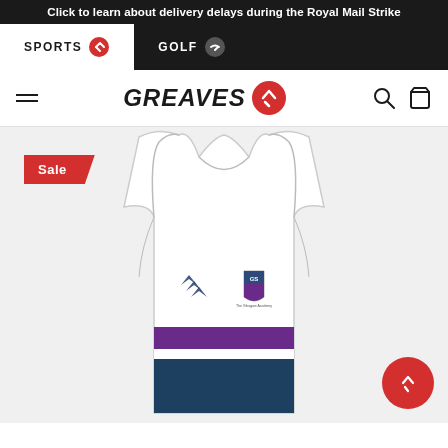Click to learn about delivery delays during the Royal Mail Strike
SPORTS | GOLF
GREAVES
[Figure (photo): White sleeveless rugby vest/training top with purple and navy horizontal stripes at the bottom, Canterbury logo on left chest, The Glasgow Academy crest on right chest. A red Sale badge is in the top-left corner.]